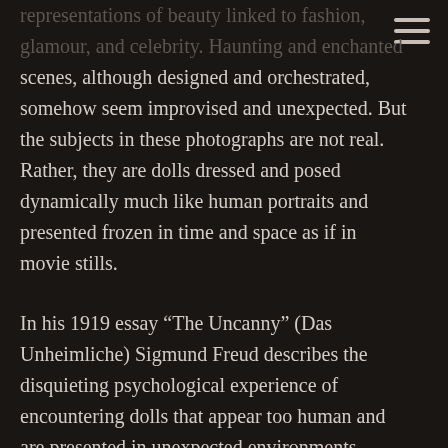representations of beauty linked to fashion, glamour, and celebrity. Haunting and enchanted scenes, although designed and orchestrated, somehow seem improvised and unexpected. But the subjects in these photographs are not real. Rather, they are dolls dressed and posed dynamically much like human portraits and presented frozen in time and space as if in movie stills.
[Figure (other): Hamburger menu icon with three horizontal lines in the top-right corner]
In his 1919 essay “The Uncanny” (Das Unheimliche) Sigmund Freud describes the disquieting psychological experience of encountering dolls that appear too human and are presented in unexpected environments. These are feelings, Freud writes, of things that